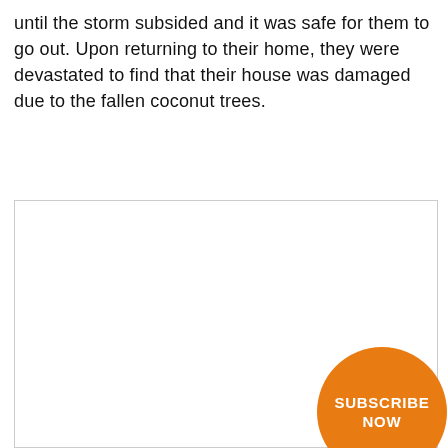until the storm subsided and it was safe for them to go out. Upon returning to their home, they were devastated to find that their house was damaged due to the fallen coconut trees.
[Figure (other): Large white rectangular image placeholder area with a light gray border. An orange circular button in the bottom-right corner reads 'SUBSCRIBE NOW' in bold white uppercase text.]